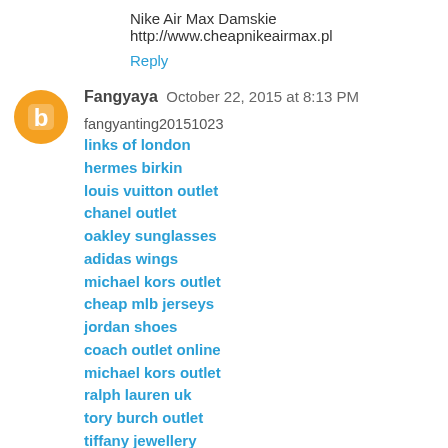Nike Air Max Damskie http://www.cheapnikeairmax.pl
Reply
Fangyaya  October 22, 2015 at 8:13 PM
fangyanting20151023
links of london
hermes birkin
louis vuitton outlet
chanel outlet
oakley sunglasses
adidas wings
michael kors outlet
cheap mlb jerseys
jordan shoes
coach outlet online
michael kors outlet
ralph lauren uk
tory burch outlet
tiffany jewellery
christian louboutin online